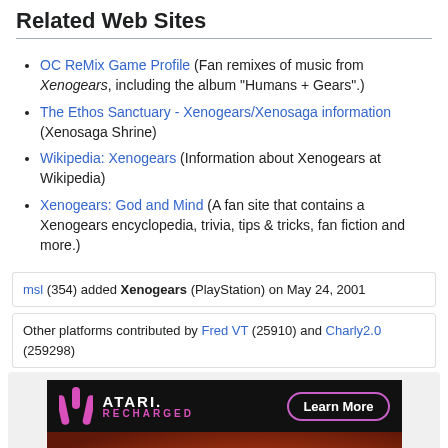Related Web Sites
OC ReMix Game Profile (Fan remixes of music from Xenogears, including the album "Humans + Gears".)
The Ethos Sanctuary - Xenogears/Xenosaga information (Xenosaga Shrine)
Wikipedia: Xenogears (Information about Xenogears at Wikipedia)
Xenogears: God and Mind (A fan site that contains a Xenogears encyclopedia, trivia, tips & tricks, fan fiction and more.)
msl (354) added Xenogears (PlayStation) on May 24, 2001
Other platforms contributed by Fred VT (25910) and Charly2.0 (259298)
[Figure (illustration): Atari Recharged advertisement banner with anime-style character illustration]